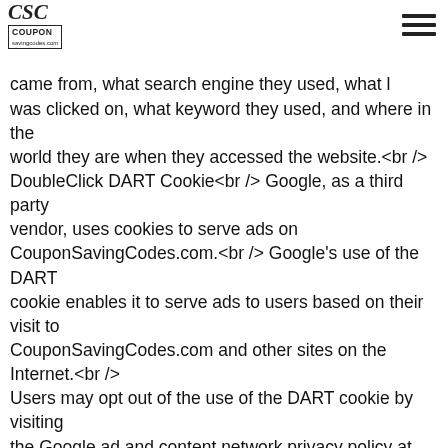CSC Coupon Saving Codes logo and hamburger menu
particular Website Optimizer test a user is part of<br /> mz<br /> 15,768,000<br /> Keeps track of where the came from, what search engine they used, what l was clicked on, what keyword they used, and where in the world they are when they accessed the website.<br /> DoubleClick DART Cookie<br /> Google, as a third party vendor, uses cookies to serve ads on CouponSavingCodes.com.<br /> Google's use of the DART cookie enables it to serve ads to users based on their visit to CouponSavingCodes.com and other sites on the Internet.<br /> Users may opt out of the use of the DART cookie by visiting the Google ad and content network privacy policy at the following URL - http://www.google.com/privacy_ads.html<br /> Some of our advertising partners may use cookies and web beacons on our site. Our advertising partners include:<br /> Google Adsense<br /> Commission Junction<br /> Rakuten (Linkshare)<br /> Amazon<br /> Shareasale<br /> These third-party ad servers or ad networks use technology to send the advertisements and links that appear on CouponSavingCodes.com directly to your browsers. They automatically receive your IP address when this occurs. Other technologies (such as cookies, JavaScript, or Web Beacons )